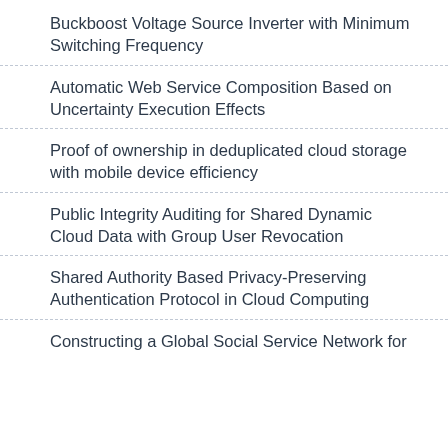Buckboost Voltage Source Inverter with Minimum Switching Frequency
Automatic Web Service Composition Based on Uncertainty Execution Effects
Proof of ownership in deduplicated cloud storage with mobile device efficiency
Public Integrity Auditing for Shared Dynamic Cloud Data with Group User Revocation
Shared Authority Based Privacy-Preserving Authentication Protocol in Cloud Computing
Constructing a Global Social Service Network for